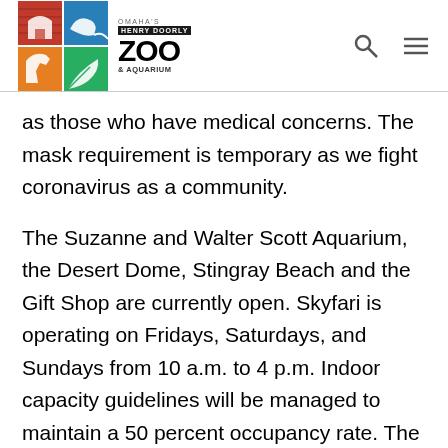[Figure (logo): Omaha's Henry Doorly Zoo & Aquarium logo with colorful grid squares and navigation icons (search and hamburger menu)]
as those who have medical concerns. The mask requirement is temporary as we fight coronavirus as a community.
The Suzanne and Walter Scott Aquarium, the Desert Dome, Stingray Beach and the Gift Shop are currently open. Skyfari is operating on Fridays, Saturdays, and Sundays from 10 a.m. to 4 p.m. Indoor capacity guidelines will be managed to maintain a 50 percent occupancy rate. The Main Entrance can be used for both entry and exit to the Zoo, while the North Gate is exit only for now.